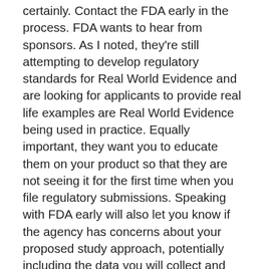certainly. Contact the FDA early in the process. FDA wants to hear from sponsors. As I noted, they're still attempting to develop regulatory standards for Real World Evidence and are looking for applicants to provide real life examples are Real World Evidence being used in practice. Equally important, they want you to educate them on your product so that they are not seeing it for the first time when you file regulatory submissions. Speaking with FDA early will also let you know if the agency has concerns about your proposed study approach, potentially including the data you will collect and use and they can help you correct it before you spend time and resources on unproductively rather than telling you that you did something wrong, FDA would much prefer to help you do it right now.